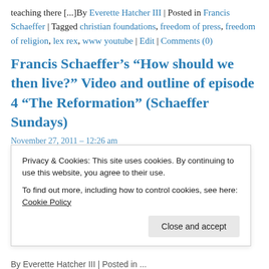teaching there [...]By Everette Hatcher III | Posted in Francis Schaeffer | Tagged christian foundations, freedom of press, freedom of religion, lex rex, www youtube | Edit | Comments (0)
Francis Schaeffer’s “How should we then live?” Video and outline of episode 4 “The Reformation” (Schaeffer Sundays)
November 27, 2011 – 12:26 am
Privacy & Cookies: This site uses cookies. By continuing to use this website, you agree to their use.
To find out more, including how to control cookies, see here: Cookie Policy
By Everette Hatcher III | Posted in ...